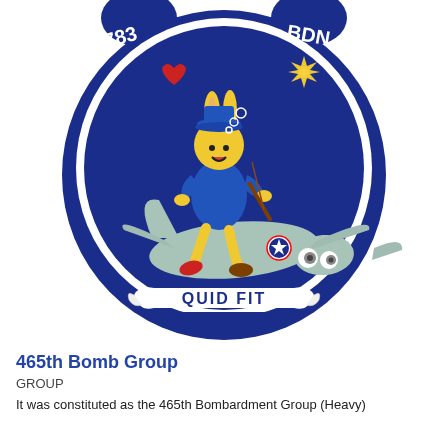[Figure (logo): Military emblem/patch for the 783rd Bombardment Squadron. Dark blue shield-shaped patch with a cartoon yellow rabbit dressed in blue military uniform, playing a violin while riding a light blue cartoon airplane. A red heart and yellow starburst decoration appear in the upper area. A white scroll banner at the bottom reads 'QUID FIT'. Text '783' appears on the upper left and 'BDN.' on the upper right of the circular emblem.]
465th Bomb Group
GROUP
It was constituted as the 465th Bombardment Group (Heavy)